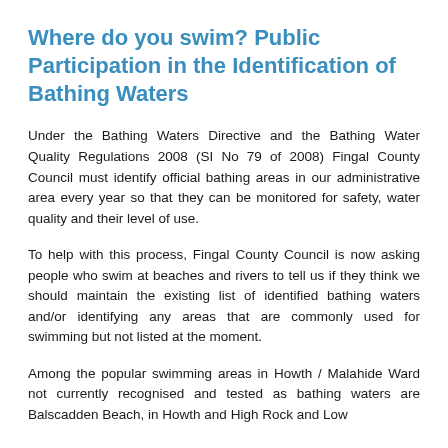Where do you swim? Public Participation in the Identification of Bathing Waters
Under the Bathing Waters Directive and the Bathing Water Quality Regulations 2008 (SI No 79 of 2008) Fingal County Council must identify official bathing areas in our administrative area every year so that they can be monitored for safety, water quality and their level of use.
To help with this process, Fingal County Council is now asking people who swim at beaches and rivers to tell us if they think we should maintain the existing list of identified bathing waters and/or identifying any areas that are commonly used for swimming but not listed at the moment.
Among the popular swimming areas in Howth / Malahide Ward not currently recognised and tested as bathing waters are Balscadden Beach, in Howth and High Rock and Low